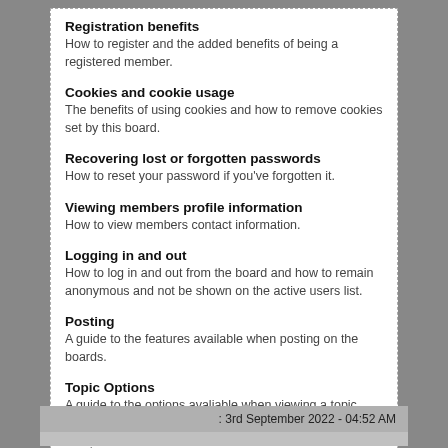Registration benefits
How to register and the added benefits of being a registered member.
Cookies and cookie usage
The benefits of using cookies and how to remove cookies set by this board.
Recovering lost or forgotten passwords
How to reset your password if you've forgotten it.
Viewing members profile information
How to view members contact information.
Logging in and out
How to log in and out from the board and how to remain anonymous and not be shown on the active users list.
Posting
A guide to the features available when posting on the boards.
Topic Options
A guide to the options avaliable when viewing a topic.
Contacting the moderating team & reporting posts
Where to find a list of the board moderators and administrators.
: 3rd September 2022 - 04:52 AM